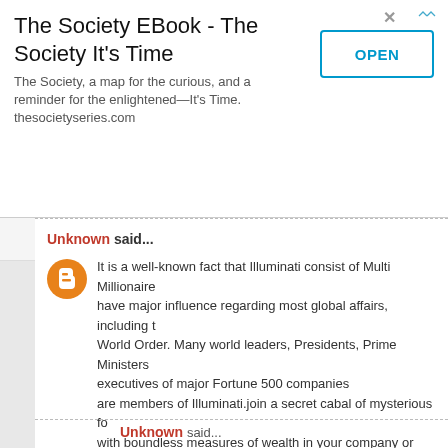The Society EBook - The Society It's Time
The Society, a map for the curious, and a reminder for the enlightened—It's Time. thesocietyseries.com
Unknown said...
It is a well-known fact that Illuminati consist of Multi Millionaires have major influence regarding most global affairs, including the World Order. Many world leaders, Presidents, Prime Ministers executives of major Fortune 500 companies are members of Illuminati.join a secret cabal of mysterious fo with boundless measures of wealth in your company or any gi Illuminati can make everything possible just contact : illuminat
EL IAI LEXION
Thaddeus Iam
Vice-President of Citizen Outreach
THE ILLUMINATI ORGANIZATION
October 18, 2015 at 1:10 PM